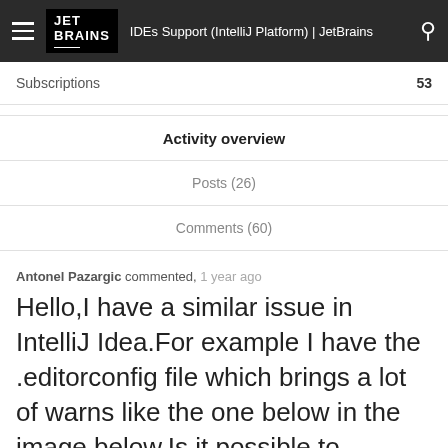IDEs Support (IntelliJ Platform) | JetBrains
Subscriptions  53
Activity overview
Posts (26)
Comments (60)
Antonel Pazargic commented, 1 year ago
Hello,I have a similar issue in IntelliJ Idea.For example I have the .editorconfig file which brings a lot of warns like the one below in the image below.Is it possible to exclude some files/direct...